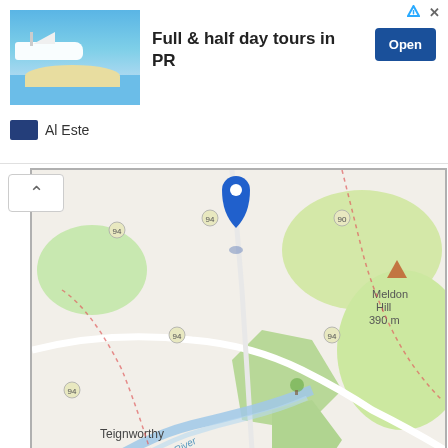[Figure (infographic): Advertisement banner: photo of a boat near a sandy beach with blue sea, text 'Full & half day tours in PR', blue 'Open' button, close/triangle icons, 'Al Este' logo]
[Figure (map): OpenStreetMap showing an area near Teignworthy, South Teign River, and Meldon Hill (390 m). A blue location pin marker is placed in the upper center of the map. Attribution: Leaflet | © OpenStreetMap contributors]
[Figure (other): Blue 'Large Map »' button]
Coordinates
Latitude: 50.66 / 50°39'36"N